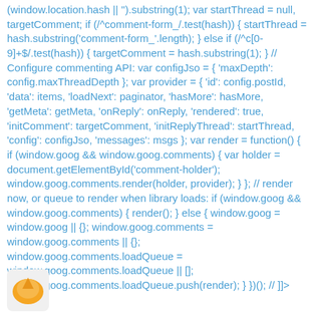(window.location.hash || '').substring(1); var startThread = null, targetComment; if (/^comment-form_/.test(hash)) { startThread = hash.substring('comment-form_'.length); } else if (/^c[0-9]+$/.test(hash)) { targetComment = hash.substring(1); } // Configure commenting API: var configJso = { 'maxDepth': config.maxThreadDepth }; var provider = { 'id': config.postId, 'data': items, 'loadNext': paginator, 'hasMore': hasMore, 'getMeta': getMeta, 'onReply': onReply, 'rendered': true, 'initComment': targetComment, 'initReplyThread': startThread, 'config': configJso, 'messages': msgs }; var render = function() { if (window.goog && window.goog.comments) { var holder = document.getElementById('comment-holder'); window.goog.comments.render(holder, provider); } }; // render now, or queue to render when library loads: if (window.goog && window.goog.comments) { render(); } else { window.goog = window.goog || {}; window.goog.comments = window.goog.comments || {}; window.goog.comments.loadQueue = window.goog.comments.loadQueue || []; window.goog.comments.loadQueue.push(render); } })(); // ]]>
[Figure (logo): Partial logo image visible at bottom left, orange/yellow circular icon on light background]